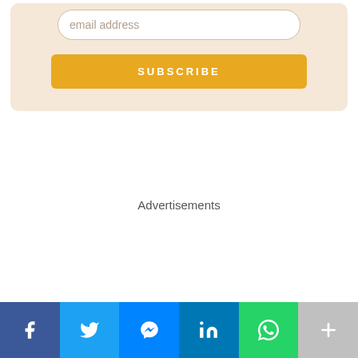email address
SUBSCRIBE
Advertisements
[Figure (infographic): Social sharing bar with Facebook, Twitter, Messenger, LinkedIn, WhatsApp, and More buttons]